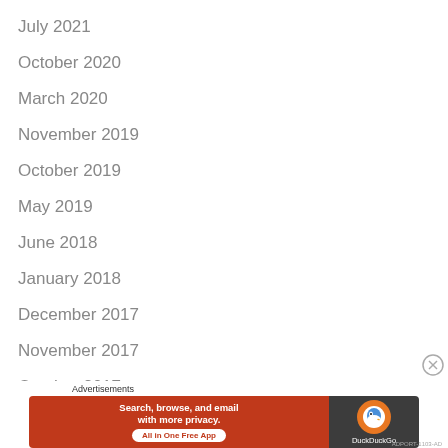July 2021
October 2020
March 2020
November 2019
October 2019
May 2019
June 2018
January 2018
December 2017
November 2017
October 2017
[Figure (other): DuckDuckGo advertisement banner: 'Search, browse, and email with more privacy. All in One Free App']